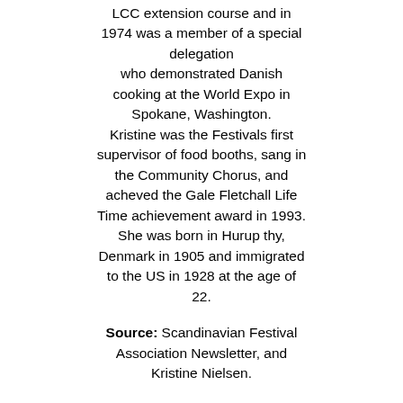LCC extension course and in 1974 was a member of a special delegation who demonstrated Danish cooking at the World Expo in Spokane, Washington. Kristine was the Festivals first supervisor of food booths, sang in the Community Chorus, and acheved the Gale Fletchall Life Time achievement award in 1993. She was born in Hurup thy, Denmark in 1905 and immigrated to the US in 1928 at the age of 22.
Source: Scandinavian Festival Association Newsletter, and Kristine Nielsen.
More >>